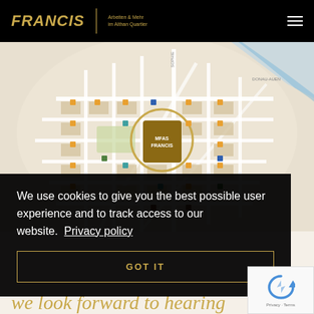FRANCIS | Arbeiten & Mehr im Althan Quartier
[Figure (map): Street map showing the location of FRANCIS in the Althan Quartier, Vienna. A circular gold ring highlights the building labeled FRANCIS on the map grid.]
We use cookies to give you the best possible user experience and to track access to our website. Privacy policy
GOT IT
[Figure (other): reCAPTCHA widget showing a rotating arrow icon with text 'Privacy - Terms']
we look forward to hearing